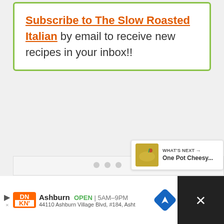Subscribe to The Slow Roasted Italian by email to receive new recipes in your inbox!!
[Figure (screenshot): Image carousel panel with navigation dots and social interaction buttons (heart with count 7, share button), and a 'What's Next' panel showing One Pot Cheesy...]
[Figure (photo): Advertisement bar for Dunkin' Donuts: Ashburn OPEN 5AM-9PM, 44110 Ashburn Village Blvd, #184, Ashb]